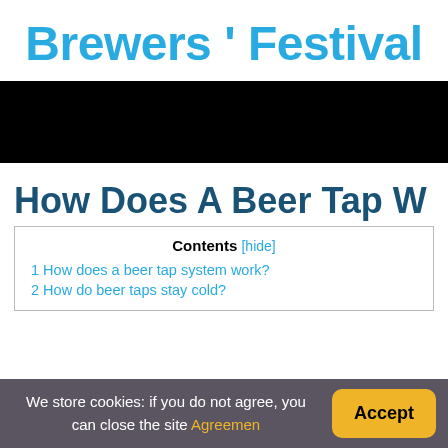Brewers ' Festival
[Figure (photo): Black banner/image area spanning full width]
How Does A Beer Tap W
Contents [hide]
1 How does a beer tap system work?
2 How do beer taps stay cold?
We store cookies: if you do not agree, you can close the site Agreement
Accept